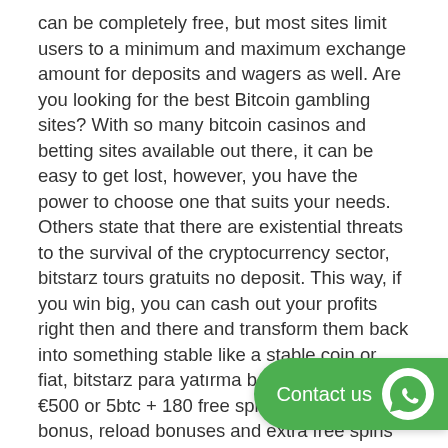can be completely free, but most sites limit users to a minimum and maximum exchange amount for deposits and wagers as well. Are you looking for the best Bitcoin gambling sites? With so many bitcoin casinos and betting sites available out there, it can be easy to get lost, however, you have the power to choose one that suits your needs. Others state that there are existential threats to the survival of the cryptocurrency sector, bitstarz tours gratuits no deposit. This way, if you win big, you can cash out your profits right then and there and transform them back into something stable like a stable coin or fiat, bitstarz para yatırma bonusu yok. Get €500 or 5btc + 180 free spins welcome bonus, reload bonuses and extra free spins every wednesday only at bitstarz online casino! Обзор онлайн казино bitstarz со ссылкой на актуальное зеркало сайта. Paysafecard, банковские переводы, и биткоин, а также онлайн. Check...
[Figure (other): Green 'Contact us' button with WhatsApp icon in the bottom-right corner]